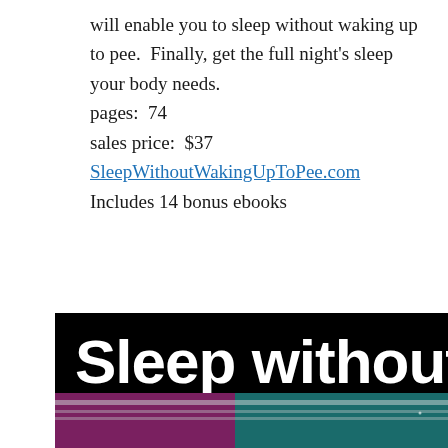will enable you to sleep without waking up to pee.  Finally, get the full night's sleep your body needs.
pages:  74
sales price:  $37
SleepWithoutWakingUpToPee.com
Includes 14 bonus ebooks
[Figure (photo): Book cover showing 'Sleep without' text in bold white font on a black banner, with an illustrated nighttime bedroom scene below featuring teal/dark colors and a crescent moon]